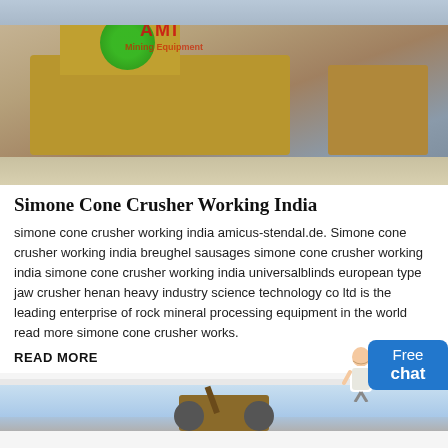[Figure (photo): Photograph of a cone crusher / mining equipment setup in an outdoor quarry setting, with heavy machinery, conveyor belts, and a green logo sphere visible. Red AME/AMI brand text at top.]
Simone Cone Crusher Working India
simone cone crusher working india amicus-stendal.de. Simone cone crusher working india breughel sausages simone cone crusher working india simone cone crusher working india universalblinds european type jaw crusher henan heavy industry science technology co ltd is the leading enterprise of rock mineral processing equipment in the world read more simone cone crusher works.
READ MORE
[Figure (photo): Photograph of a second piece of mining/crushing equipment outdoors against a blue sky background.]